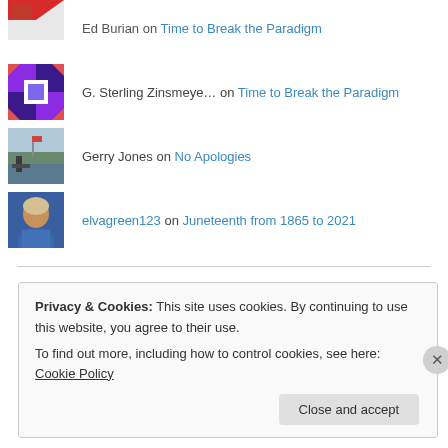Ed Burian on Time to Break the Paradigm
G. Sterling Zinsmeye… on Time to Break the Paradigm
Gerry Jones on No Apologies
elvagreen123 on Juneteenth from 1865 to 2021
Privacy & Cookies: This site uses cookies. By continuing to use this website, you agree to their use.
To find out more, including how to control cookies, see here: Cookie Policy
Close and accept